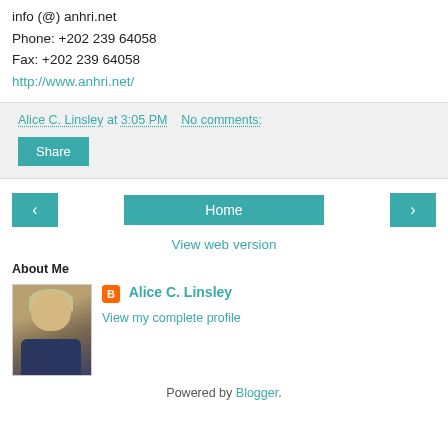info (@) anhri.net
Phone: +202 239 64058
Fax: +202 239 64058
http://www.anhri.net/
Alice C. Linsley at 3:05 PM   No comments:
Share
‹   Home   ›
View web version
About Me
[Figure (photo): Profile photo of Alice C. Linsley, an older woman with short blonde hair, wearing a blue plaid shirt]
Alice C. Linsley
View my complete profile
Powered by Blogger.